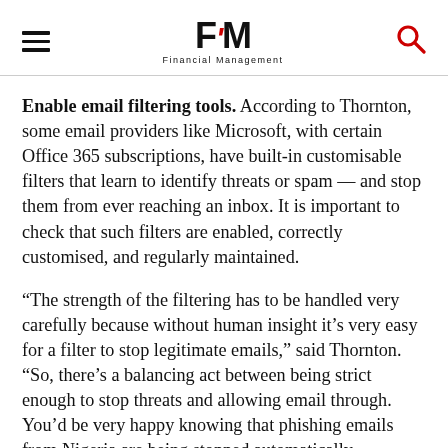FM Financial Management
Enable email filtering tools. According to Thornton, some email providers like Microsoft, with certain Office 365 subscriptions, have built-in customisable filters that learn to identify threats or spam — and stop them from ever reaching an inbox. It is important to check that such filters are enabled, correctly customised, and regularly maintained.
“The strength of the filtering has to be handled very carefully because without human insight it’s very easy for a filter to stop legitimate emails,” said Thornton. “So, there’s a balancing act between being strict enough to stop threats and allowing email through. You’d be very happy knowing that phishing emails from Nigeria are being stopped automatically, but if your financial director’s emails are also being